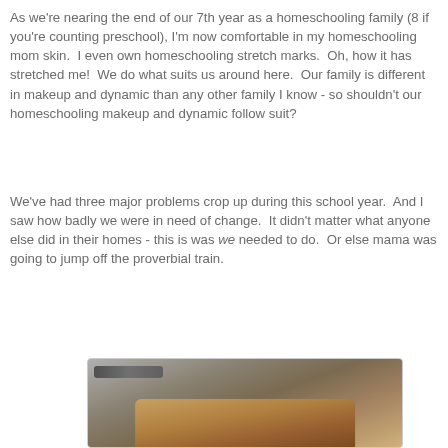As we're nearing the end of our 7th year as a homeschooling family (8 if you're counting preschool), I'm now comfortable in my homeschooling mom skin.  I even own homeschooling stretch marks.  Oh, how it has stretched me!  We do what suits us around here.  Our family is different in makeup and dynamic than any other family I know - so shouldn't our homeschooling makeup and dynamic follow suit?
We've had three major problems crop up during this school year.  And I saw how badly we were in need of change.  It didn't matter what anyone else did in their homes - this is was we needed to do.  Or else mama was going to jump off the proverbial train.
[Figure (photo): Photo of grilled cheese sandwiches or toast in a pan, viewed from above]